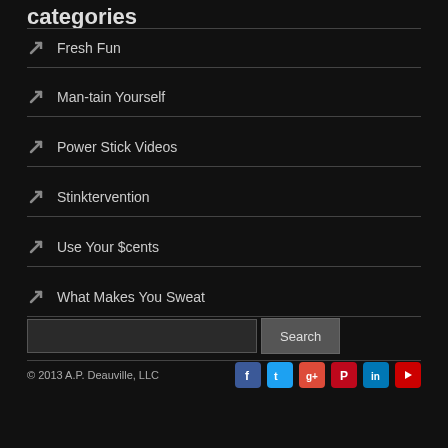categories
Fresh Fun
Man-tain Yourself
Power Stick Videos
Stinktervention
Use Your $cents
What Makes You Sweat
Search
© 2013 A.P. Deauville, LLC